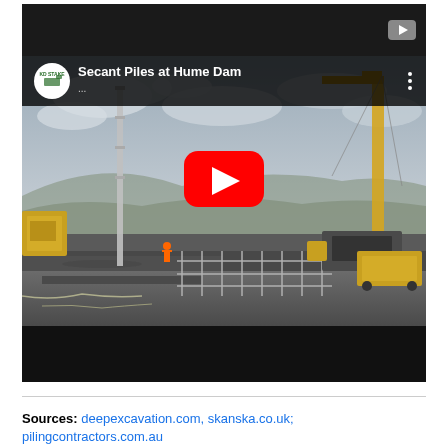[Figure (screenshot): YouTube video thumbnail showing 'Secant Piles at Hume Dam' with a construction site scene featuring cranes, piling rigs, workers, and heavy machinery. The video player interface shows a YouTube play button overlay, channel logo, video title, and three-dot menu. The player has a dark top bar with a YouTube icon and a dark bottom bar.]
Sources: deepexcavation.com, skanska.co.uk; pilingcontractors.com.au